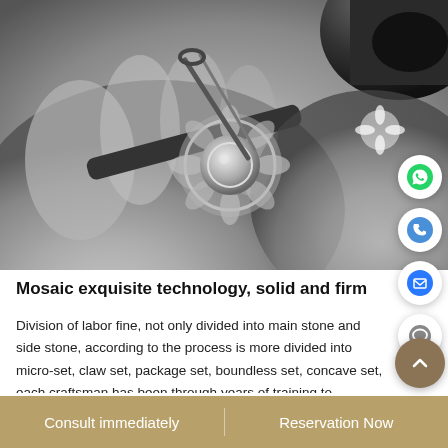[Figure (photo): Black and white close-up photo of a jeweler or craftsman's hands working on an ornate jewelry piece (a decorative medallion/brooch) using precision tools. A loupe or optical tool is visible in the upper right corner.]
Mosaic exquisite technology, solid and firm
Division of labor fine, not only divided into main stone and side stone, according to the process is more divided into micro-set, claw set, package set, boundless set, concave set, each craftsman has been through years of training to specialize in a skill, and to do the best...
Consult immediately | Reservation Now